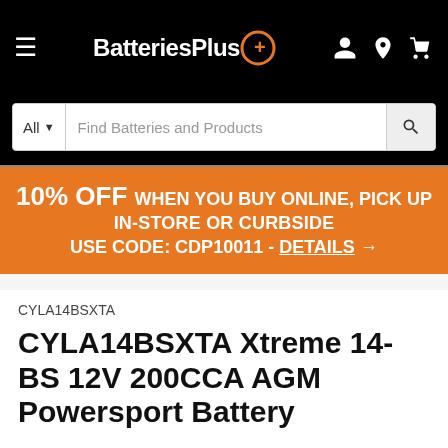BatteriesPlus
Find Batteries and Products
10% OFF WHEN YOU BUY ONLINE, PICK UP IN-STORE OR CURBSIDE USE CODE: CDP10011 - DETAILS →
CYLA14BSXTA
CYLA14BSXTA Xtreme 14-BS 12V 200CCA AGM Powersport Battery
★★★★★ 124 Reviews